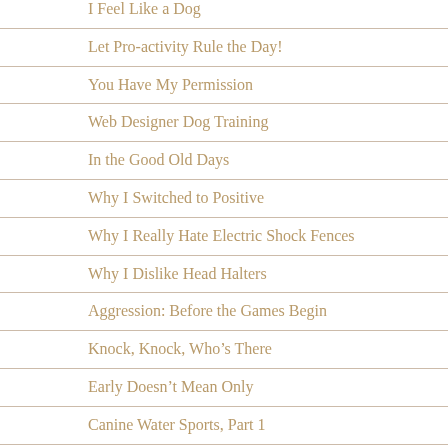I Feel Like a Dog
Let Pro-activity Rule the Day!
You Have My Permission
Web Designer Dog Training
In the Good Old Days
Why I Switched to Positive
Why I Really Hate Electric Shock Fences
Why I Dislike Head Halters
Aggression: Before the Games Begin
Knock, Knock, Who’s There
Early Doesn’t Mean Only
Canine Water Sports, Part 1